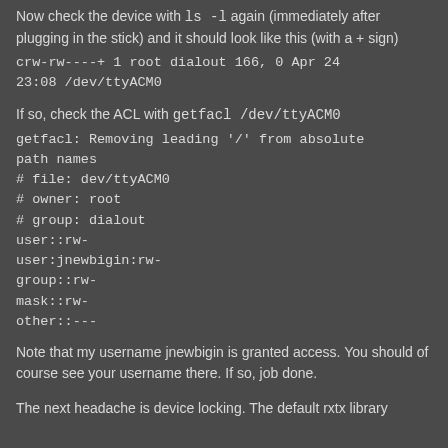Now check the device with ls -l again (immediately after plugging in the stick) and it should look like this (with a + sign)
crw-rw----+ 1 root dialout 166, 0 Apr 24 23:08 /dev/ttyACM0
If so, check the ACL with getfacl /dev/ttyACM0
getfacl: Removing leading '/' from absolute path names
# file: dev/ttyACM0
# owner: root
# group: dialout
user::rw-
user:jnewbigin:rw-
group::rw-
mask::rw-
other::---
Note that my username jnewbigin is granted access. You should of course see your username there. If so, job done.
The next headache is device locking. The default rxtx library